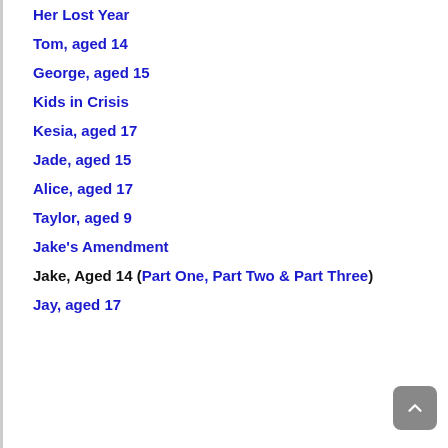Her Lost Year
Tom, aged 14
George, aged 15
Kids in Crisis
Kesia, aged 17
Jade, aged 15
Alice, aged 17
Taylor, aged 9
Jake's Amendment
Jake, Aged 14 (Part One, Part Two & Part Three)
Jay, aged 17